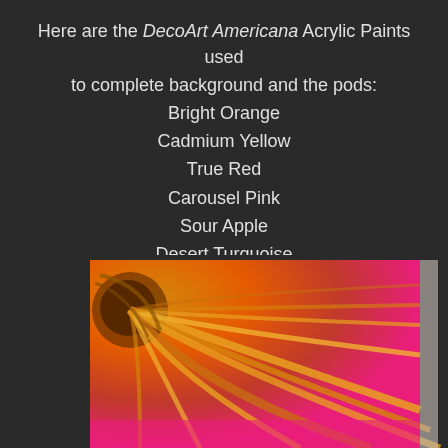Here are the DecoArt Americana Acrylic Paints used to complete background and the pods:
Bright Orange
Cadmium Yellow
True Red
Carousel Pink
Sour Apple
Desert Turquoise
Lavender
[Figure (photo): Close-up photo of an acrylic painting with warm orange, red, and yellow brushstrokes forming radiating lines or flower petals, with bright pink visible at the bottom edge. Dark background flanks the painting.]